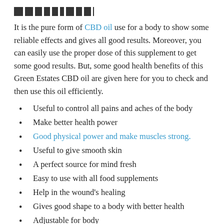[logo/header image]
It is the pure form of CBD oil use for a body to show some reliable effects and gives all good results. Moreover, you can easily use the proper dose of this supplement to get some good results. But, some good health benefits of this Green Estates CBD oil are given here for you to check and then use this oil efficiently.
Useful to control all pains and aches of the body
Make better health power
Good physical power and make muscles strong.
Useful to give smooth skin
A perfect source for mind fresh
Easy to use with all food supplements
Help in the wound's healing
Gives good shape to a body with better health
Adjustable for body